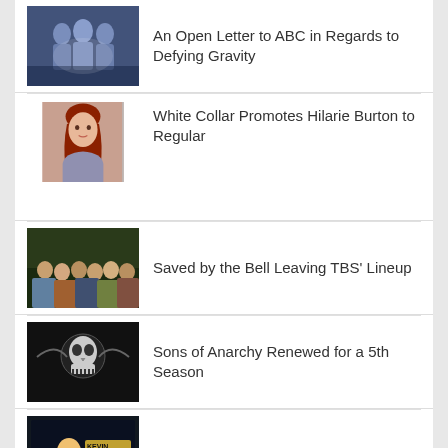An Open Letter to ABC in Regards to Defying Gravity
White Collar Promotes Hilarie Burton to Regular
Saved by the Bell Leaving TBS' Lineup
Sons of Anarchy Renewed for a 5th Season
Kevin Pollak's Chat Show
RANDOM POSTS
Daily: Community Bloopers, South Park,